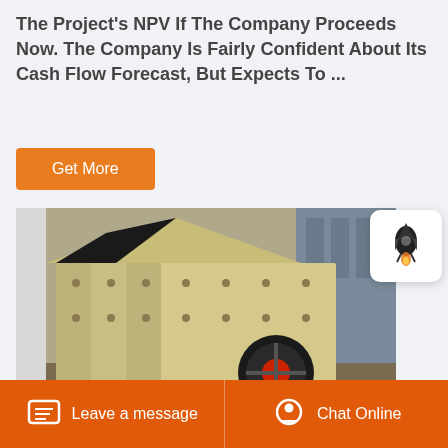The Project's NPV If The Company Proceeds Now. The Company Is Fairly Confident About Its Cash Flow Forecast, But Expects To ...
Get More
[Figure (photo): Industrial impact crusher / hammer mill machine in a factory setting, painted yellow, with a large black and red flywheel visible. Heavy industrial mining or quarrying equipment.]
[Figure (logo): Rocket icon badge in white rounded square]
Leave a message   Chat Online